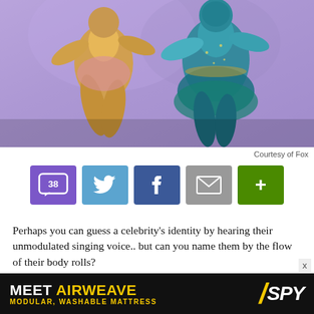[Figure (photo): Two performers in elaborate costumes dancing — one in gold/pink outfit on the left, one in teal/green embroidered outfit on the right, against a purple stage background.]
Courtesy of Fox
[Figure (infographic): Social sharing bar with buttons: comment (38), Twitter, Facebook, email, and more (+)]
Perhaps you can guess a celebrity's identity by hearing their unmodulated singing voice.. but can you name them by the flow of their body rolls?
Fox's The Masked Dancer — a spinoff of the network's popular competition series The Masked Singer — invites us to do just that, beginning with Sunday night's premiere. (The Masked Dancer will settle in at its regular Wednesday time slot starting Jan. 6 at 8/7c). And if
[Figure (infographic): Advertisement banner: MEET AIRWEAVE — MODULAR, WASHABLE MATTRESS with SPY logo]